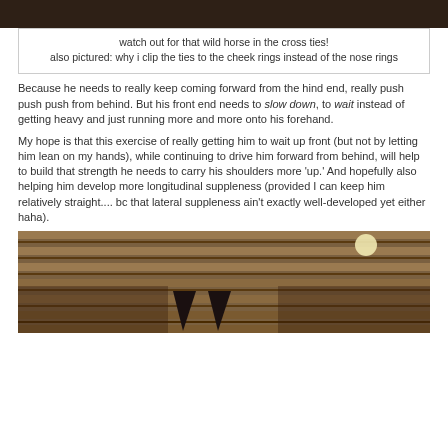[Figure (photo): Top portion of a photo showing a horse in cross ties, partial dark image at top of page]
watch out for that wild horse in the cross ties!
also pictured: why i clip the ties to the cheek rings instead of the nose rings
Because he needs to really keep coming forward from the hind end, really push push push from behind. But his front end needs to slow down, to wait instead of getting heavy and just running more and more onto his forehand.
My hope is that this exercise of really getting him to wait up front (but not by letting him lean on my hands), while continuing to drive him forward from behind, will help to build that strength he needs to carry his shoulders more 'up.' And hopefully also helping him develop more longitudinal suppleness (provided I can keep him relatively straight.... bc that lateral suppleness ain't exactly well-developed yet either haha).
[Figure (photo): Bottom photo showing horse ears and wooden fence/stall slats from below, with light in background]